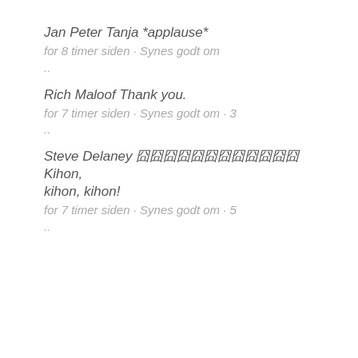Jan Peter Tanja *applause*
for 8 timer siden · Synes godt om
..
Rich Maloof Thank you.
for 7 timer siden · Synes godt om · 3
..
Steve Delaney 囧囧囧囧囧囧囧囧囧囧囧囧 Kihon, kihon, kihon!
for 7 timer siden · Synes godt om · 5
..